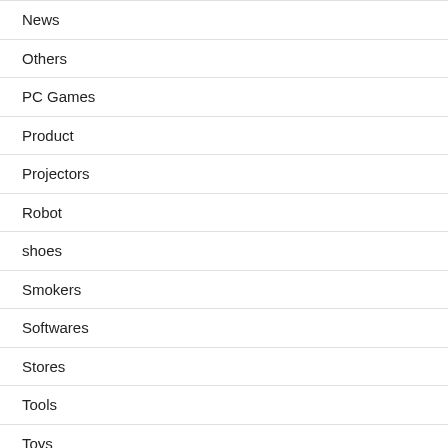News
Others
PC Games
Product
Projectors
Robot
shoes
Smokers
Softwares
Stores
Tools
Toys
TV Deals